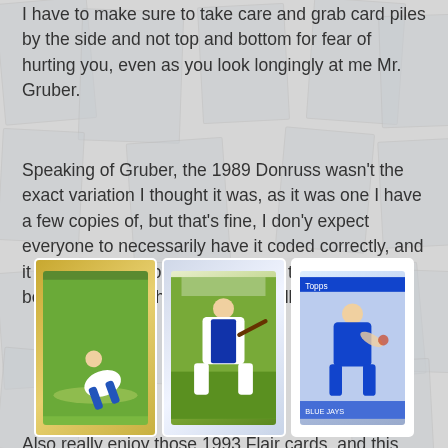I have to make sure to take care and grab card piles by the side and not top and bottom for fear of hurting you, even as you look longingly at me Mr. Gruber.
Speaking of Gruber, the 1989 Donruss wasn't the exact variation I thought it was, as it was one I have a few copies of, but that's fine, I don'y expect everyone to necessarily have it coded correctly, and it wasn't a big enough deal for me to specify beforehand, which is on me, but all good.
Also really enjoy those 1993 Flair cards, and this one which notes John flirting with .400 in the blurb on the back - though he did end up at only .363 that year, which is more the Tony Gwynn range of awesome hitting - and that is A-OK!
[Figure (photo): Three baseball cards displayed in the lower portion: a gold-bordered card on the left showing a player sliding, a center card showing a Blue Jays batter, and a right card showing a Blue Jays pitcher. All cards are over a collage background of various sports cards.]